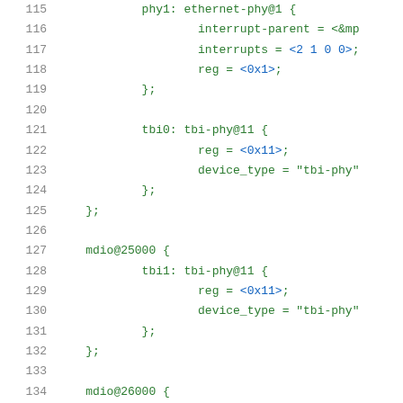Code listing lines 115-136 showing device tree source for ethernet PHY and MDIO configurations
[Figure (screenshot): Source code listing showing device tree configuration with line numbers 115-136, featuring phy1, tbi0, tbi1, tbi2 entries under mdio nodes with reg and device_type properties]